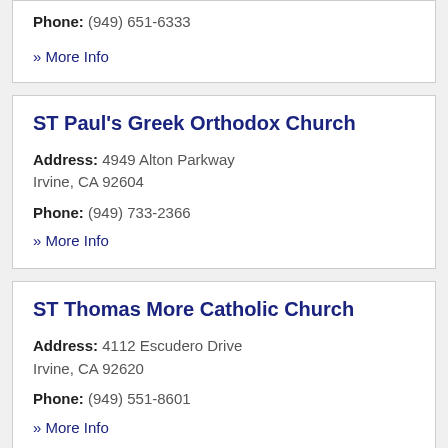Phone: (949) 651-6333
» More Info
ST Paul's Greek Orthodox Church
Address: 4949 Alton Parkway Irvine, CA 92604
Phone: (949) 733-2366
» More Info
ST Thomas More Catholic Church
Address: 4112 Escudero Drive Irvine, CA 92620
Phone: (949) 551-8601
» More Info